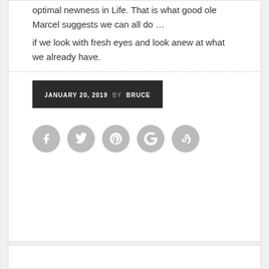optimal newness in Life. That is what good ole Marcel suggests we can all do … if we look with fresh eyes and look anew at what we already have.
JANUARY 20, 2019  BY BRUCE
[Figure (other): Social media sharing icons: Facebook, Twitter, Pinterest, Google+, StumbleUpon]